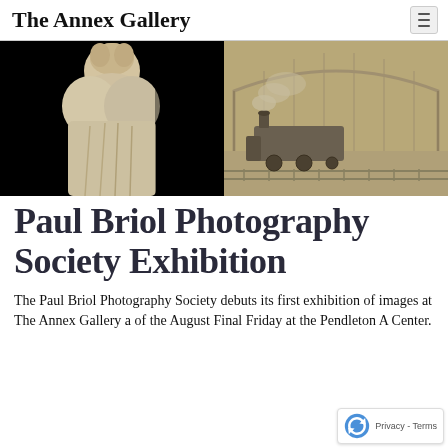The Annex Gallery
[Figure (photo): Two-panel hero image: left panel shows a sepia-toned marble statue of a draped female figure viewed from behind against a black background; right panel shows a sepia-toned historical photograph of a steam locomotive at a train station with a large arched structure]
Paul Briol Photography Society Exhibition
The Paul Briol Photography Society debuts its first exhibition of images at The Annex Gallery a[nd as part] of the August Final Friday at the Pendleton A[rts] Center.